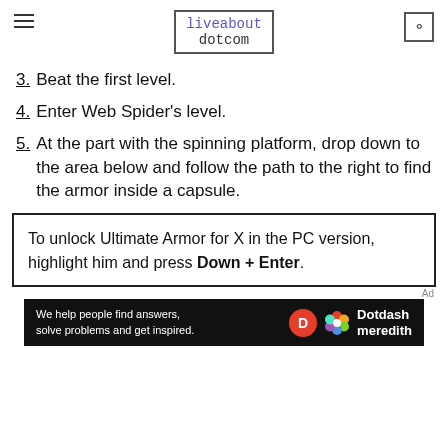liveabout dotcom
3. Beat the first level.
4. Enter Web Spider's level.
5. At the part with the spinning platform, drop down to the area below and follow the path to the right to find the armor inside a capsule.
To unlock Ultimate Armor for X in the PC version, highlight him and press Down + Enter.
[Figure (infographic): Dotdash Meredith ad bar: 'We help people find answers, solve problems and get inspired.' with Dotdash Meredith logo]